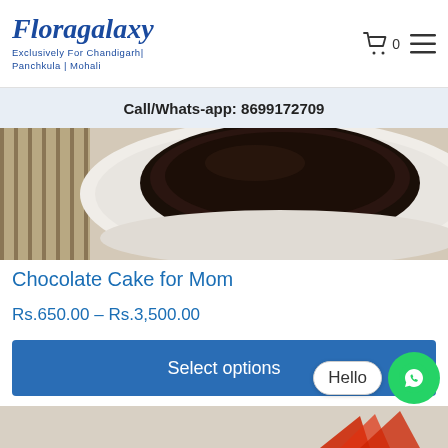Floragalaxy — Exclusively For Chandigarh| Panchkula | Mohali
Call/Whats-app: 8699172709
[Figure (photo): Close-up photo of a chocolate cake on a white plate with a bamboo mat background]
Chocolate Cake for Mom
Rs.650.00 – Rs.3,500.00
Select options
[Figure (screenshot): WhatsApp Hello chat bubble and green WhatsApp icon button in bottom right corner]
[Figure (photo): Partial product image at the bottom of the page with red leaf element visible]